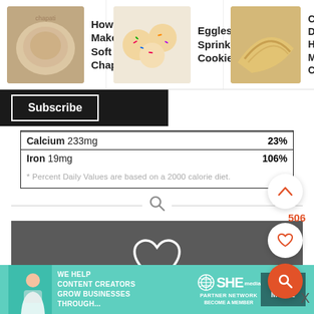[Figure (screenshot): Website navigation showing three recipe thumbnails: 'How to Make Soft Chapati', 'Eggless Sprinkle Cookies...', and 'Crispy Dos... Recipe / H... to Make C...']
Subscribe
| Calcium 233mg | 23% |
| Iron 19mg | 106% |
* Percent Daily Values are based on a 2000 calorie diet.
[Figure (screenshot): Dark grey CTA section with white heart outline icon and text 'Tried this recipe?']
[Figure (screenshot): Advertisement banner: 'We help content creators grow businesses through...' SHE Partner Network, BECOME A MEMBER, LEARN MORE button]